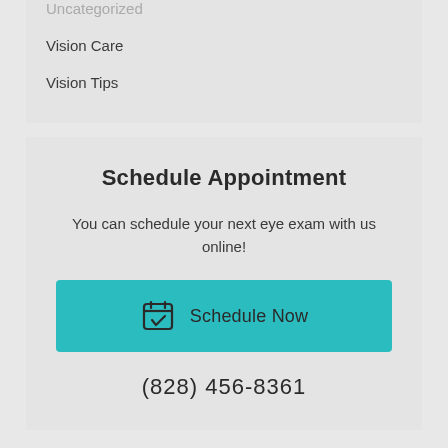Uncategorized
Vision Care
Vision Tips
Schedule Appointment
You can schedule your next eye exam with us online!
Schedule Now
(828) 456-8361